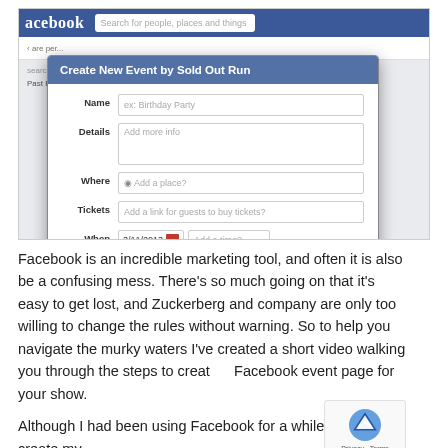[Figure (screenshot): Facebook 'Create New Event by Sold Out Run' dialog modal screenshot showing form fields: Name (ex: Birthday Party), Details (Add more info), Where (Add a place?), Tickets (Add a link for guests to buy tickets?), When (3/11/2013 with calendar icon and Add a time?), checkbox 'Only admins can post to the event wall', and Create/Cancel buttons.]
Facebook is an incredible marketing tool, and often it is also be a confusing mess. There's so much going on that it's easy to get lost, and Zuckerberg and company are only too willing to change the rules without warning. So to help you navigate the murky waters I've created a short video walking you through the steps to create a Facebook event page for your show.
Although I had been using Facebook for a while, I didn't create my